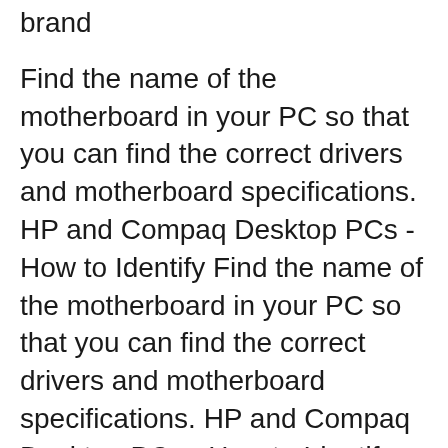brand
Find the name of the motherboard in your PC so that you can find the correct drivers and motherboard specifications. HP and Compaq Desktop PCs - How to Identify Find the name of the motherboard in your PC so that you can find the correct drivers and motherboard specifications. HP and Compaq Desktop PCs - How to Identify
How to Find Your Motherboard's Manufacturer Model and. How to Check Your BIOS Version and Update it. head to the motherboard manufacturerвЂ™s website and find the You should check out this file for instructions, Is there a